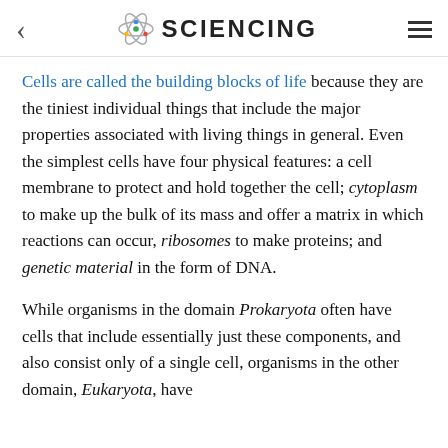< SCIENCING ≡
Cells are called the building blocks of life because they are the tiniest individual things that include the major properties associated with living things in general. Even the simplest cells have four physical features: a cell membrane to protect and hold together the cell; cytoplasm to make up the bulk of its mass and offer a matrix in which reactions can occur, ribosomes to make proteins; and genetic material in the form of DNA.
While organisms in the domain Prokaryota often have cells that include essentially just these components, and also consist only of a single cell, organisms in the other domain, Eukaryota, have